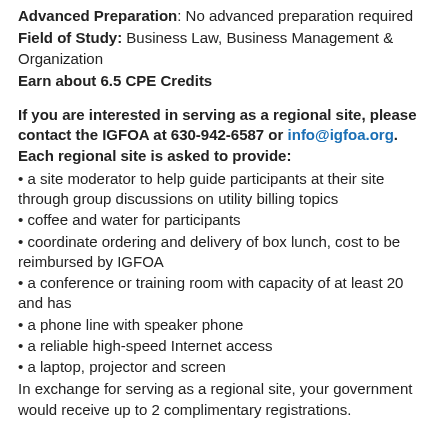Advanced Preparation: No advanced preparation required
Field of Study: Business Law, Business Management & Organization
Earn about 6.5 CPE Credits
If you are interested in serving as a regional site, please contact the IGFOA at 630-942-6587 or info@igfoa.org. Each regional site is asked to provide:
a site moderator to help guide participants at their site through group discussions on utility billing topics
coffee and water for participants
coordinate ordering and delivery of box lunch, cost to be reimbursed by IGFOA
a conference or training room with capacity of at least 20 and has
a phone line with speaker phone
a reliable high-speed Internet access
a laptop, projector and screen
In exchange for serving as a regional site, your government would receive up to 2 complimentary registrations.